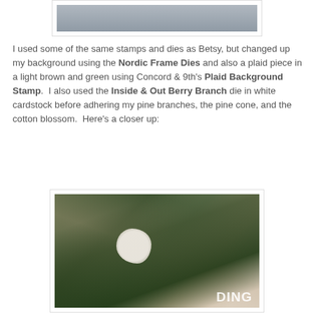[Figure (photo): Partial view of a crafted card, cropped at top of page showing a grey/blue background section]
I used some of the same stamps and dies as Betsy, but changed up my background using the Nordic Frame Dies and also a plaid piece in a light brown and green using Concord & 9th's Plaid Background Stamp.  I also used the Inside & Out Berry Branch die in white cardstock before adhering my pine branches, the pine cone, and the cotton blossom.  Here's a closer up:
[Figure (photo): Close-up photo of a handmade card showing green pine branches with snow-dusted cotton blossom die cut in white, layered over a plaid background in light brown and beige tones, with embossed Nordic frame die pattern visible and partial text 'DING' at bottom right]